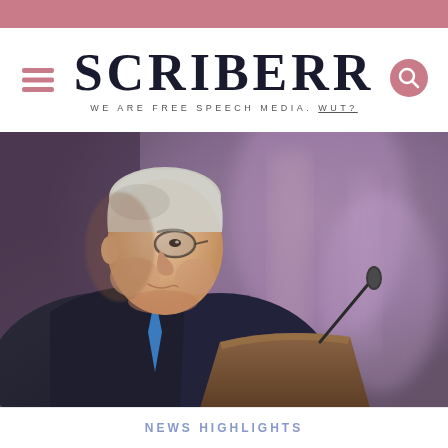[Figure (logo): SCRIBERR logo with zigzag pink header bar, hamburger menu icon, search icon, and tagline WE ARE FREE SPEECH MEDIA. WUT?]
[Figure (photo): Elderly man in dark suit with blue tie at a podium with microphone, photographed from a low angle, blurred purple/pink background]
NEWS HIGHLIGHTS